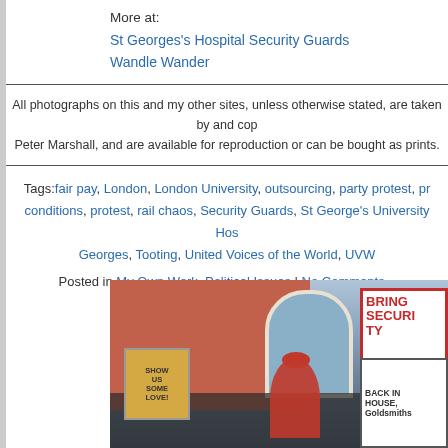More at:
St Georges's Hospital Security Guards
Wandle Wander
All photographs on this and my other sites, unless otherwise stated, are taken by and cop Peter Marshall, and are available for reproduction or can be bought as prints.
Tags: fair pay, London, London University, outsourcing, party protest, pr conditions, protest, rail chaos, Security Guards, St George's University Hos Georges, Tooting, United Voices of the World, UVW
Posted in My Own Work, Political Issues | No Comments »
Show Workers Some Love
Sunday, February 14th, 2021
[Figure (photo): Protest photo showing workers holding signs including 'SHOW US SOME LOVE' and 'BRING SECURITY BACK IN HOUSE, Goldsmiths' outside a brick building with arched window]